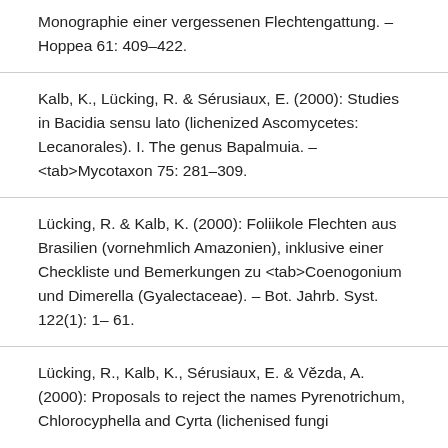Monographie einer vergessenen Flechtengattung. – Hoppea 61: 409–422.
Kalb, K., Lücking, R. & Sérusiaux, E. (2000): Studies in Bacidia sensu lato (lichenized Ascomycetes: Lecanorales). I. The genus Bapalmuia. – <tab>Mycotaxon 75: 281–309.
Lücking, R. & Kalb, K. (2000): Foliikole Flechten aus Brasilien (vornehmlich Amazonien), inklusive einer Checkliste und Bemerkungen zu <tab>Coenogonium und Dimerella (Gyalectaceae). – Bot. Jahrb. Syst. 122(1): 1–61.
Lücking, R., Kalb, K., Sérusiaux, E. & Vězda, A. (2000): Proposals to reject the names Pyrenotrichum, Chlorocyphella and Cyrta (lichenised fungi...